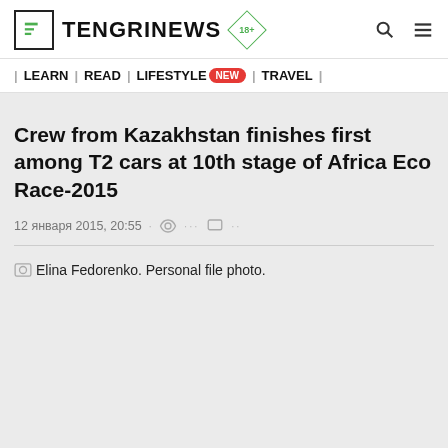TENGRINEWS 18+
| LEARN | READ | LIFESTYLE NEW | TRAVEL |
Crew from Kazakhstan finishes first among T2 cars at 10th stage of Africa Eco Race-2015
12 января 2015, 20:55
Elina Fedorenko. Personal file photo.